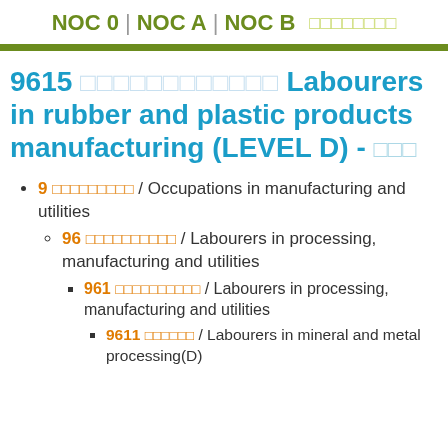NOC 0 | NOC A | NOC B [Thai]
9615 [Thai] Labourers in rubber and plastic products manufacturing (LEVEL D) - [Thai]
9 [Thai] / Occupations in manufacturing and utilities
96 [Thai] / Labourers in processing, manufacturing and utilities
961 [Thai] / Labourers in processing, manufacturing and utilities
9611 [Thai] / Labourers in mineral and metal processing(D)